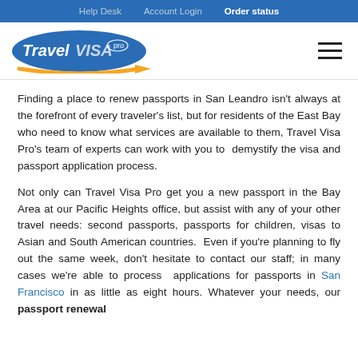Help Desk   Account Login   Order status
[Figure (logo): Travel Visa Pro logo with blue oval and orange arrow]
Finding a place to renew passports in San Leandro isn't always at the forefront of every traveler's list, but for residents of the East Bay who need to know what services are available to them, Travel Visa Pro's team of experts can work with you to demystify the visa and passport application process.
Not only can Travel Visa Pro get you a new passport in the Bay Area at our Pacific Heights office, but assist with any of your other travel needs: second passports, passports for children, visas to Asian and South American countries. Even if you're planning to fly out the same week, don't hesitate to contact our staff; in many cases we're able to process applications for passports in San Francisco in as little as eight hours. Whatever your needs, our passport renewal